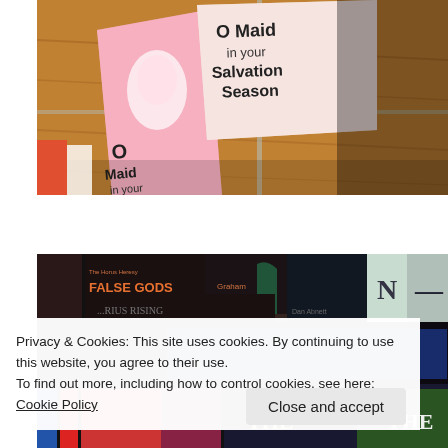[Figure (photo): Photo of manga/graphic novel books on a wooden surface, showing books titled 'O Maid in Your Salvation Season' with colorful illustrated covers]
[Figure (photo): Photo of book spines on a shelf including 'FALSE GODS' by Graham McNeill, '...RISE RISING' by Dan Abnett, and other dark-spined books with 'N' and 'T' visible, plus colorful books below]
Privacy & Cookies: This site uses cookies. By continuing to use this website, you agree to their use.
To find out more, including how to control cookies, see here: Cookie Policy
Close and accept